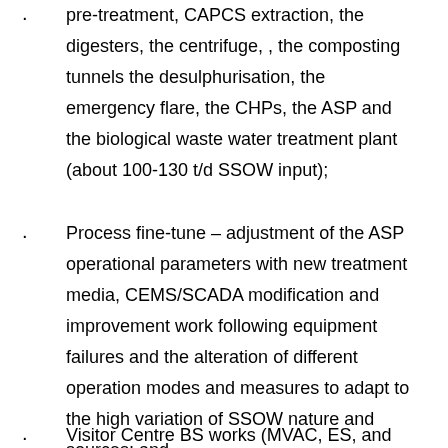pre-treatment, CAPCS extraction, the digesters, the centrifuge, , the composting tunnels the desulphurisation, the emergency flare, the CHPs, the ASP and the biological waste water treatment plant (about 100-130 t/d SSOW input);
Process fine-tune – adjustment of the ASP operational parameters with new treatment media, CEMS/SCADA modification and improvement work following equipment failures and the alteration of different operation modes and measures to adapt to the high variation of SSOW nature and sources; and
Visitor Centre BS works (MVAC, ES, and